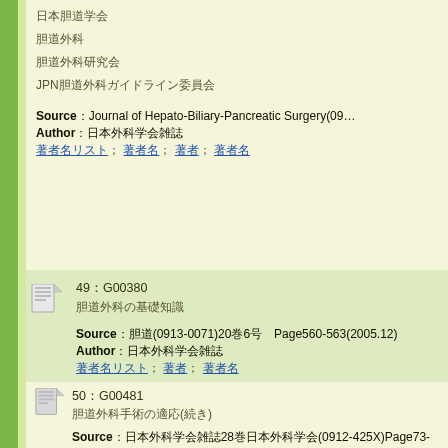日本胆道学会
胆道外科
胆道外科研究会
JPN胆道外科ガイドライン委員会
Source：Journal of Hepato-Biliary-Pancreatic Surgery(09...
Author：日本外科学会雑誌
著者名リスト; 著者名; 著者名; 著者名
49：G00380
胆道外科の基礎知識
Source：胆道(0913-0071)20巻6号 Page560-563(2005.12)
Author：日本外科学会雑誌
著者名リスト; 著者名; 著者名
50：G00481
胆道外科手術の適応(続き)
Source：日本外科学会雑誌28巻日本外科学会(0912-425X)Page73-74(2...